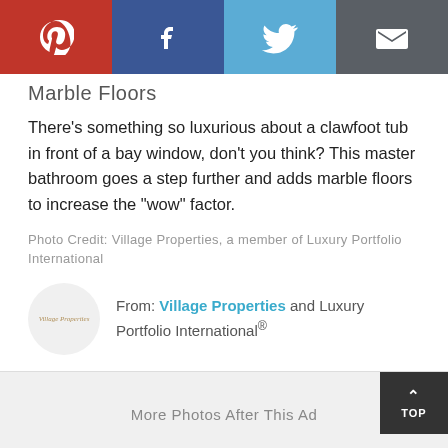[Figure (screenshot): Social sharing bar with Pinterest (red), Facebook (dark blue), Twitter (light blue), and Email (dark grey) buttons]
Marble Floors
There's something so luxurious about a clawfoot tub in front of a bay window, don't you think? This master bathroom goes a step further and adds marble floors to increase the "wow" factor.
Photo Credit: Village Properties, a member of Luxury Portfolio International
From: Village Properties and Luxury Portfolio International®
More Photos After This Ad